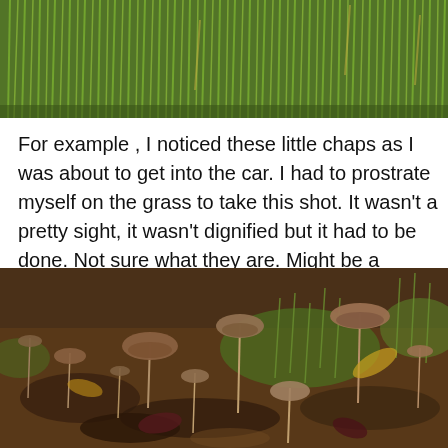[Figure (photo): Close-up photograph of grass, mostly green blades with some yellowing, cropped at the bottom showing a grassy outdoor scene.]
For example , I noticed these little chaps as I was about to get into the car. I had to prostrate myself on the grass to take this shot. It wasn't a pretty sight, it wasn't dignified but it had to be done. Not sure what they are. Might be a Shaggy Inkcap (or Lawyer's Wig).
[Figure (photo): Photograph of small mushrooms growing among fallen autumn leaves and grass on the ground. The mushrooms have brown conical caps on thin stems. Various leaves in shades of brown, green, and yellow are visible.]